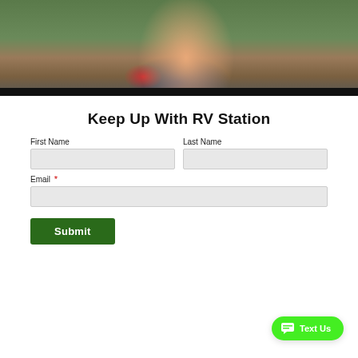[Figure (photo): A woman in a red shirt and blue shorts sitting in a blue camping chair outdoors, reading something. Green grass and earth/dirt visible in the background. A black bar at the bottom of the video/photo frame.]
Keep Up With RV Station
First Name
Last Name
Email *
Submit
Text Us